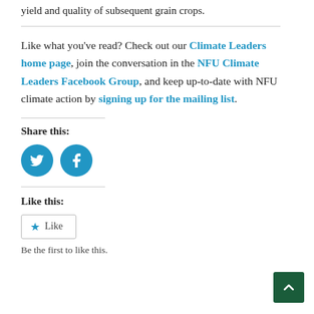yield and quality of subsequent grain crops.
Like what you've read? Check out our Climate Leaders home page, join the conversation in the NFU Climate Leaders Facebook Group, and keep up-to-date with NFU climate action by signing up for the mailing list.
Share this:
[Figure (illustration): Twitter and Facebook social sharing buttons as blue circular icons with white logos]
Like this:
[Figure (illustration): WordPress like button widget with a star icon and 'Like' text]
Be the first to like this.